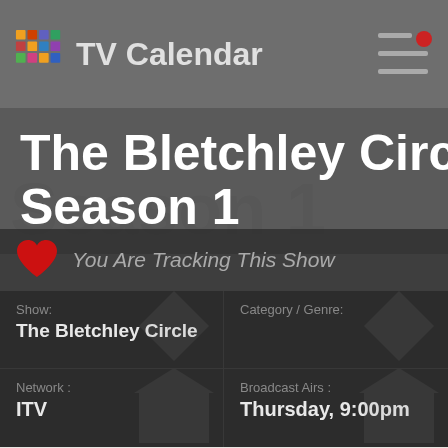TV Calendar
The Bletchley Circle Season 1
You Are Tracking This Show
| Field | Value |
| --- | --- |
| Show: | The Bletchley Circle |
| Category / Genre: |  |
| Network: | ITV |
| Broadcast Airs: | Thursday, 9:00pm |